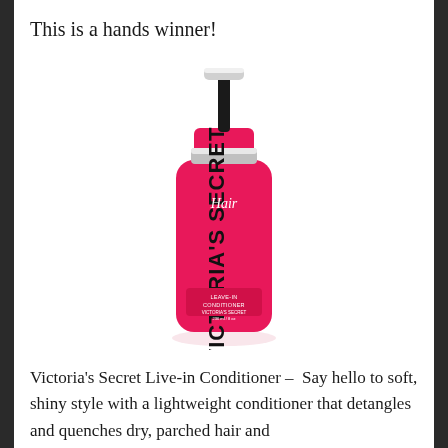This is a hands winner!
[Figure (photo): Victoria's Secret Hair Leave-in Conditioner spray bottle — hot pink bottle with black vertical text reading VICTORIA'S SECRET, cursive Hair label, and product details at bottom, silver pump top]
Victoria's Secret Live-in Conditioner –  Say hello to soft, shiny style with a lightweight conditioner that detangles and quenches dry, parched hair and